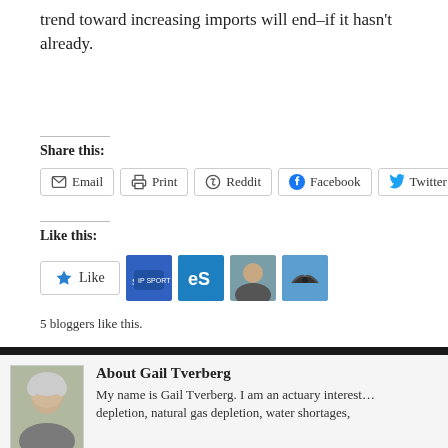trend toward increasing imports will end–if it hasn't already.
Share this:
Email  Print  Reddit  Facebook  Twitter  LinkedIn
Like this:
5 bloggers like this.
About Gail Tverberg
My name is Gail Tverberg. I am an actuary interested in depletion, natural gas depletion, water shortages,